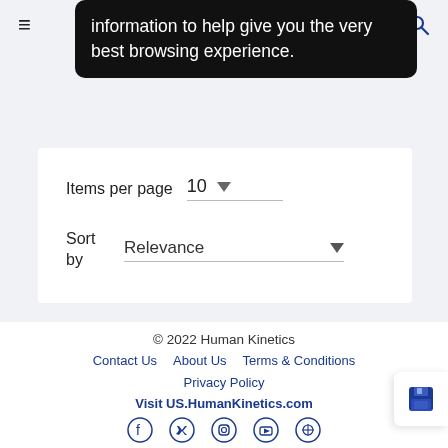information to help give you the very best browsing experience.
Items per page  10
Sort by  Relevance
[Figure (other): Save/floppy disk icon button]
© 2022 Human Kinetics
Contact Us  About Us  Terms & Conditions
Privacy Policy
Visit US.HumanKinetics.com